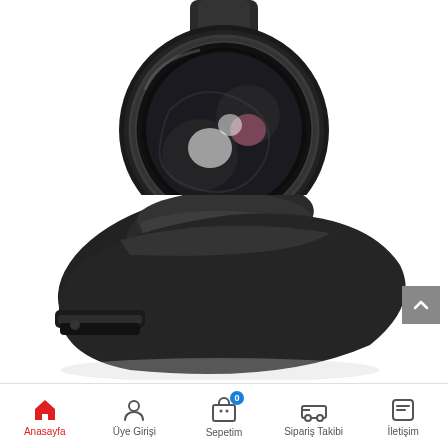[Figure (photo): Top-down view of a clip-on phone camera lens attachment (wide-angle/fisheye lens) with black metal ring and clip, showing the lens glass with reflections on white background]
[Figure (photo): Angled side view of a clip-on phone camera lens attachment in dark metal, showing the clip mechanism and lens body]
[Figure (other): Scroll-to-top button (grey square with up chevron arrow)]
Anasayfa  Üye Girişi  Sepetim 0  Sipariş Takibi  İletişim